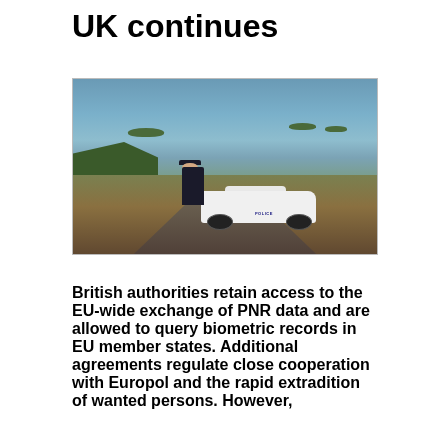UK continues
[Figure (photo): A police officer standing next to a white police car on a coastal road overlooking the sea, with rocky islands in the background and grassy hillside terrain.]
British authorities retain access to the EU-wide exchange of PNR data and are allowed to query biometric records in EU member states. Additional agreements regulate close cooperation with Europol and the rapid extradition of wanted persons. However,